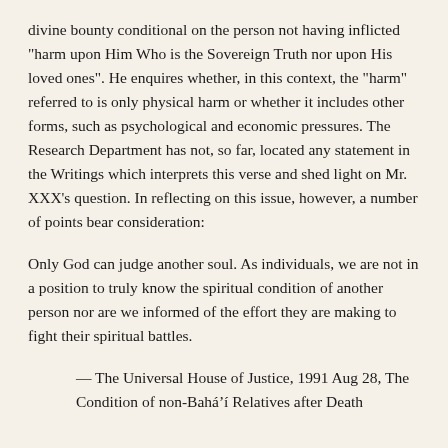divine bounty conditional on the person not having inflicted "harm upon Him Who is the Sovereign Truth nor upon His loved ones". He enquires whether, in this context, the "harm" referred to is only physical harm or whether it includes other forms, such as psychological and economic pressures. The Research Department has not, so far, located any statement in the Writings which interprets this verse and shed light on Mr. XXX's question. In reflecting on this issue, however, a number of points bear consideration:
Only God can judge another soul. As individuals, we are not in a position to truly know the spiritual condition of another person nor are we informed of the effort they are making to fight their spiritual battles.
— The Universal House of Justice, 1991 Aug 28, The Condition of non-Bahá'í Relatives after Death